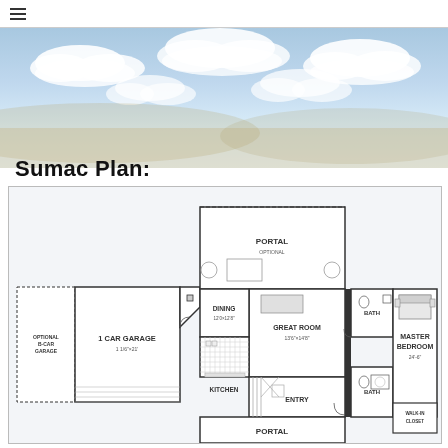≡ (hamburger menu)
[Figure (photo): Sky background with clouds, light blue gradient]
Sumac Plan:
[Figure (engineering-diagram): Floor plan for Sumac Plan showing: Optional B-Car Garage, 1 Car Garage, Portal (optional), Dining, Great Room, Kitchen, Entry, Master Bedroom, Bath areas, and Portal at bottom. Rooms labeled with dimensions.]